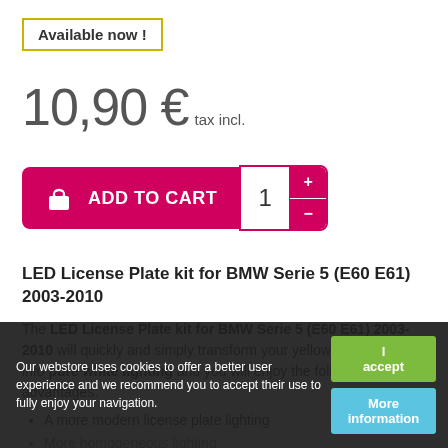Available now !
10,90 € tax incl.
ADD TO CART
LED License Plate kit for BMW Serie 5 (E60 E61) 2003-2010
The LED License Plate kit for BMW Serie 5 (E60 E61) 2003-2010 will quickly and simply transform your yellow plate lighting into pure white lighting and you will enjoy the following advantages:
A more modern license plate lighting
More homogeneous lighting
Pure white lighting
Our webstore uses cookies to offer a better user experience and we recommend you to accept their use to fully enjoy your navigation.